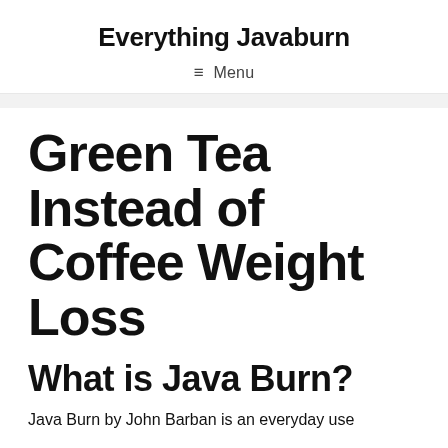Everything Javaburn
≡ Menu
Green Tea Instead of Coffee Weight Loss
What is Java Burn?
Java Burn by John Barban is an everyday use